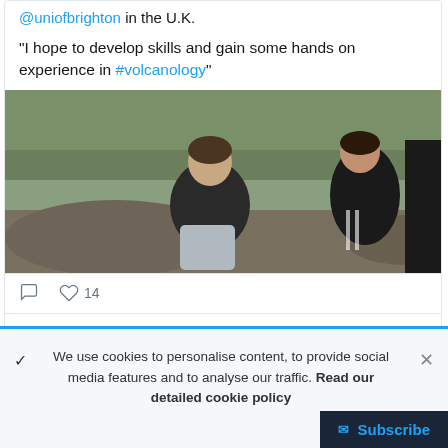@uniofbrighton in the U.K.
"I hope to develop skills and gain some hands on experience in #volcanology"
[Figure (photo): Photo of students sitting on rocks outdoors, in a woodland/rocky setting. One person smiling at camera.]
♡ 14
Uni of Brighton - Geography & Environment Retweeted
We use cookies to personalise content, to provide social media features and to analyse our traffic. Read our detailed cookie policy
Subscribe